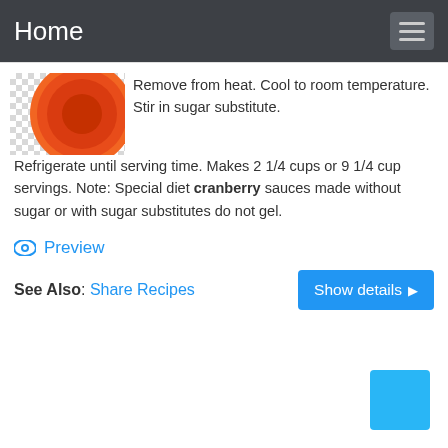Home
[Figure (photo): Partial view of a circular orange/red cranberry sauce dish on a checkered background]
Remove from heat. Cool to room temperature. Stir in sugar substitute. Refrigerate until serving time. Makes 2 1/4 cups or 9 1/4 cup servings. Note: Special diet cranberry sauces made without sugar or with sugar substitutes do not gel.
Preview
See Also: Share Recipes
Show details